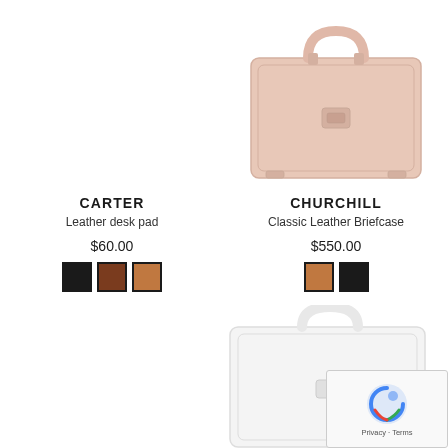[Figure (photo): Pink/blush leather briefcase - Churchill Classic Leather Briefcase product photo]
CARTER
Leather desk pad
$60.00
[Figure (infographic): Color swatches for Carter: black, dark brown, tan/orange]
CHURCHILL
Classic Leather Briefcase
$550.00
[Figure (infographic): Color swatches for Churchill: tan/orange, black]
[Figure (photo): White/light colored briefcase product photo - partially visible in bottom right]
[Figure (other): Google reCAPTCHA widget with Privacy and Terms text]